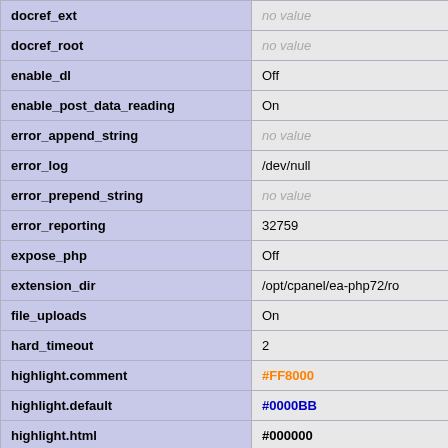| Directive | Value |
| --- | --- |
| docref_ext | no value |
| docref_root | no value |
| enable_dl | Off |
| enable_post_data_reading | On |
| error_append_string | no value |
| error_log | /dev/null |
| error_prepend_string | no value |
| error_reporting | 32759 |
| expose_php | Off |
| extension_dir | /opt/cpanel/ea-php72/ro |
| file_uploads | On |
| hard_timeout | 2 |
| highlight.comment | #FF8000 |
| highlight.default | #0000BB |
| highlight.html | #000000 |
| highlight.keyword | #007700 |
| highlight.string | #DD0000 |
| html_errors | On |
| ignore_repeated_errors | Off |
| ignore_repeated_source | Off |